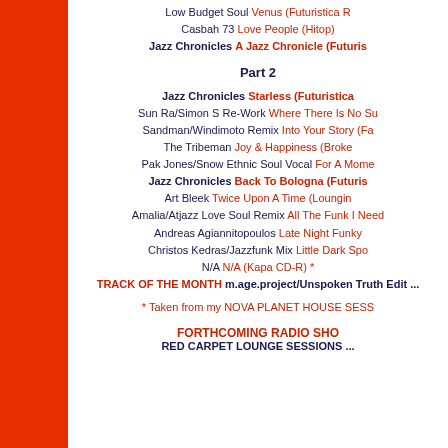Low Budget Soul Venus (Futuristica R...
Casbah 73 Love People (Hitop)
Jazz Chronicles A Jazz Chronicle (Futuris...
Part 2
Jazz Chronicles Starless (Futuristica...
Sun Ra/Simon S Re-Work Where There Is No Su...
Sandman/Windimoto Remix Into Your Story (Fa...
The Tribeman Joy & Happiness (Broke...
Pak Jones/Snow Ethnic Soul Vocal For A Mome...
Jazz Chronicles Back To Bologna (Futuris...
Art Bleek Twice Upon A Time (Loungin...
Amalia/Atjazz Love Soul Remix All The Funk I Need...
Andreas Agiannitopoulos Late Night Funky...
Christos Kedras/Jazzfunk Mix Little Dark Spo...
N/A N/A (Kapa CD-R) *
TRACK OF THE MONTH m.age.project/Unspoken Truth Edit ...
* Taken from my NOVA PLANET HOUSE SESS...
FORTHCOMING RADIO SHO...
RED CARPET LOUNGE SESSIONS ...